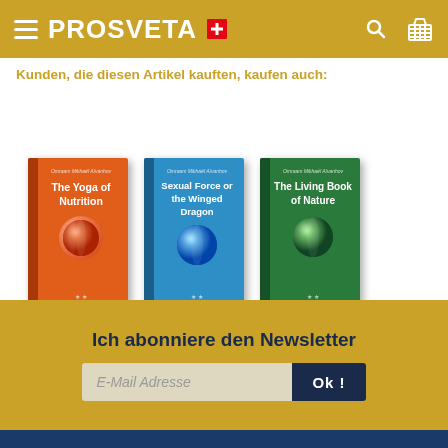PROSVETA
Kunden, die diesen Artikel kauften, kaufen auch:
[Figure (photo): Three book covers displayed side by side: 'The Yoga of Nutrition' (orange cover), 'Sexual Force or the Winged Dragon' (blue cover), and 'The Living Book of Nature' (green cover). Each cover shows a globe illustration in the center.]
Ich abonniere den Newsletter
E-Mail Adresse
Ok !